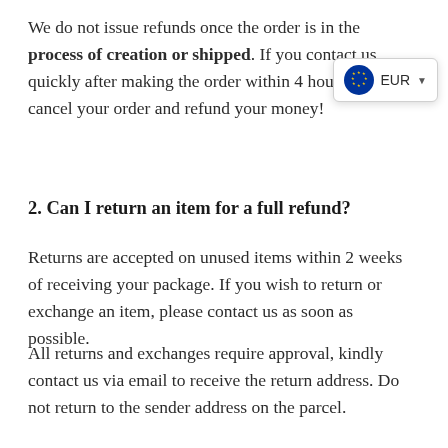We do not issue refunds once the order is in the process of creation or shipped. If you contact us quickly after making the order within 4 hours, we can cancel your order and refund your money!
[Figure (other): Currency selector widget showing EU flag and EUR dropdown]
2. Can I return an item for a full refund?
Returns are accepted on unused items within 2 weeks of receiving your package. If you wish to return or exchange an item, please contact us as soon as possible.
All returns and exchanges require approval, kindly contact us via email to receive the return address. Do not return to the sender address on the parcel.